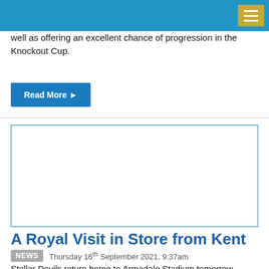well as offering an excellent chance of progression in the Knockout Cup.
Read More ▸
[Figure (photo): Blank white image placeholder with blue border for article about A Royal Visit in Store from Kent]
A Royal Visit in Store from Kent
NEWS   Thursday 16th September 2021, 9:37am
Stellar Devils return home to Armadale Stadium tomorrow evening